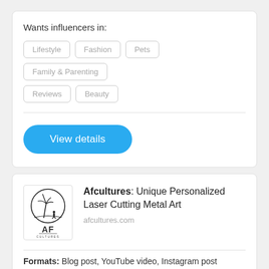Wants influencers in:
Lifestyle
Fashion
Pets
Family & Parenting
Reviews
Beauty
View details
Afcultures: Unique Personalized Laser Cutting Metal Art
afcultures.com
Formats: Blog post, YouTube video, Instagram post
Compensation: Up-front
Allows roundups